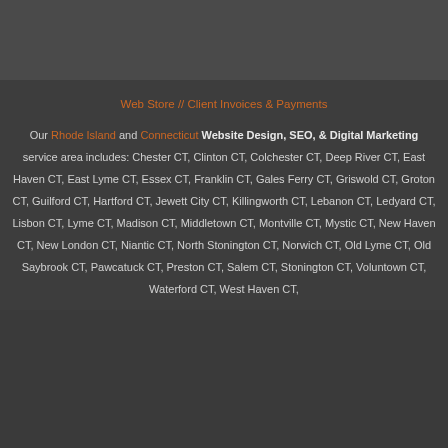Web Store // Client Invoices & Payments
Our Rhode Island and Connecticut Website Design, SEO, & Digital Marketing service area includes: Chester CT, Clinton CT, Colchester CT, Deep River CT, East Haven CT, East Lyme CT, Essex CT, Franklin CT, Gales Ferry CT, Griswold CT, Groton CT, Guilford CT, Hartford CT, Jewett City CT, Killingworth CT, Lebanon CT, Ledyard CT, Lisbon CT, Lyme CT, Madison CT, Middletown CT, Montville CT, Mystic CT, New Haven CT, New London CT, Niantic CT, North Stonington CT, Norwich CT, Old Lyme CT, Old Saybrook CT, Pawcatuck CT, Preston CT, Salem CT, Stonington CT, Voluntown CT, Waterford CT, West Haven CT,